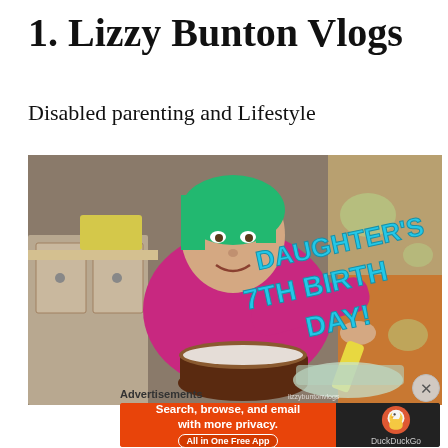1. Lizzy Bunton Vlogs
Disabled parenting and Lifestyle
[Figure (photo): Woman with green hair decorating a cake in a kitchen; text overlay reads DAUGHTER'S 7TH BIRTHDAY!]
Advertisements
[Figure (infographic): DuckDuckGo advertisement banner: 'Search, browse, and email with more privacy. All in One Free App' with DuckDuckGo duck logo on dark background.]